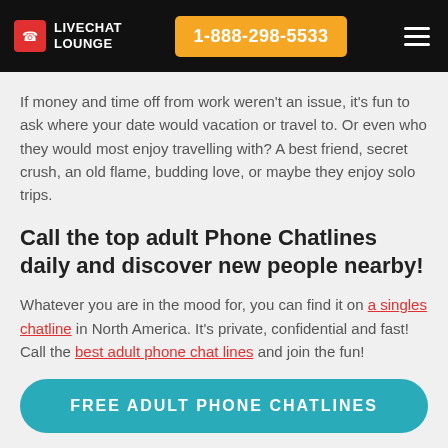LIVECHAT LOUNGE | 1-888-298-5533
If money and time off from work weren't an issue, it's fun to ask where your date would vacation or travel to. Or even who they would most enjoy travelling with? A best friend, secret crush, an old flame, budding love, or maybe they enjoy solo trips.
Call the top adult Phone Chatlines daily and discover new people nearby!
Whatever you are in the mood for, you can find it on a singles chatline in North America. It's private, confidential and fast! Call the best adult phone chat lines and join the fun!
FREE ADULT PHONE CHATLINES